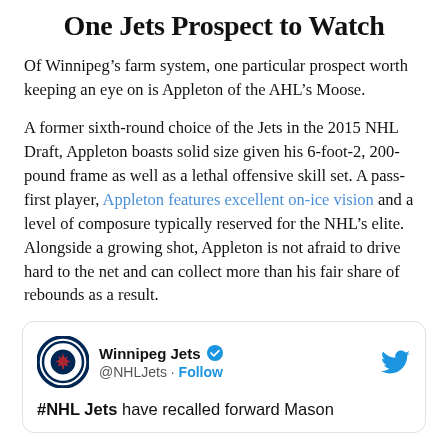One Jets Prospect to Watch
Of Winnipeg’s farm system, one particular prospect worth keeping an eye on is Appleton of the AHL’s Moose.
A former sixth-round choice of the Jets in the 2015 NHL Draft, Appleton boasts solid size given his 6-foot-2, 200-pound frame as well as a lethal offensive skill set. A pass-first player, Appleton features excellent on-ice vision and a level of composure typically reserved for the NHL’s elite. Alongside a growing shot, Appleton is not afraid to drive hard to the net and can collect more than his fair share of rebounds as a result.
[Figure (screenshot): Embedded tweet from Winnipeg Jets (@NHLJets) with verified badge and Follow button, showing partial tweet text: #NHL Jets have recalled forward Mason]